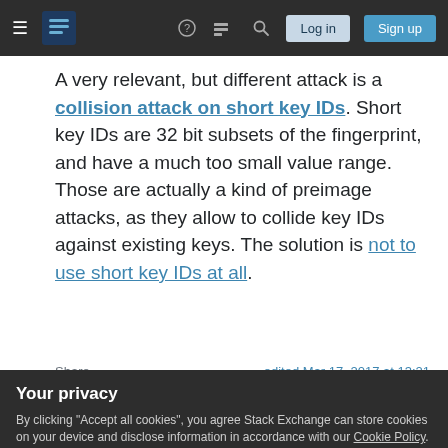Stack Exchange navigation bar with hamburger menu, logo, help, chat, search icons, Log in and Sign up buttons
A very relevant, but different attack is a collision attack on short key IDs. Short key IDs are 32 bit subsets of the fingerprint, and have a much too small value range. Those are actually a kind of preimage attacks, as they allow to collide key IDs against existing keys. The solution is not to use short key IDs at all.
Share
Improve this answer
edited Mar 17, 2017 at 13:21
Community Bot
Your privacy
By clicking "Accept all cookies", you agree Stack Exchange can store cookies on your device and disclose information in accordance with our Cookie Policy.
Accept all cookies   Customize settings
trying to get at is, could you generate two identical